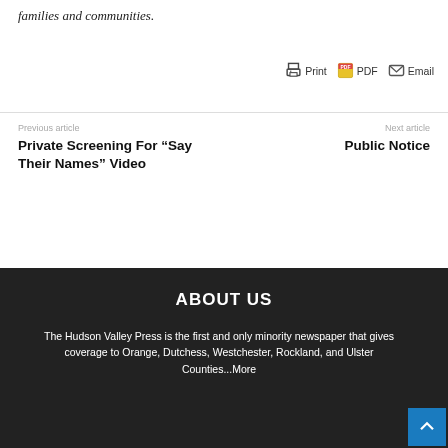families and communities.
Print  PDF  Email
Previous article
Private Screening For “Say Their Names” Video
Next article
Public Notice
ABOUT US
The Hudson Valley Press is the first and only minority newspaper that gives coverage to Orange, Dutchess, Westchester, Rockland, and Ulster Counties...More